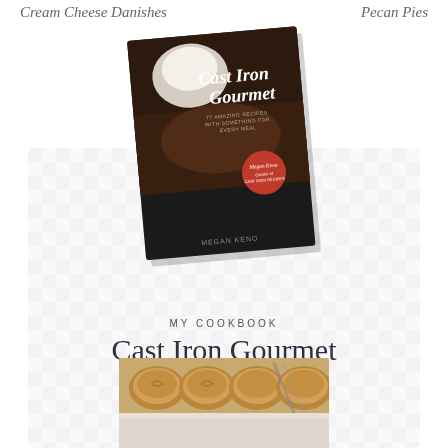Cream Cheese Danishes
Pecan Pies
[Figure (photo): Book cover for Cast Iron Gourmet cookbook, shown at a slight angle with a dark cover featuring food photography and white script text]
[Figure (infographic): Promotional box with light grey checkerboard/diamond pattern background containing cookbook promotion]
MY COOKBOOK
Cast Iron Gourmet
BUY NOW »
[Figure (photo): Food photography showing baked goods or rolls at the bottom of the page, partially visible]